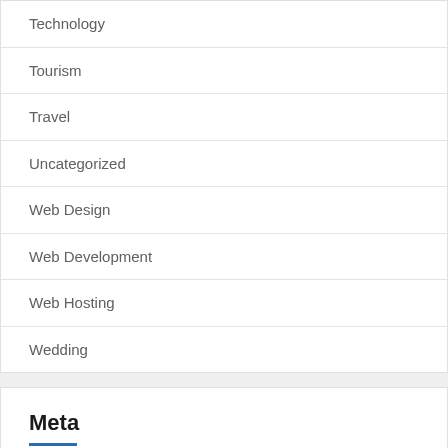Technology
Tourism
Travel
Uncategorized
Web Design
Web Development
Web Hosting
Wedding
Meta
Log in